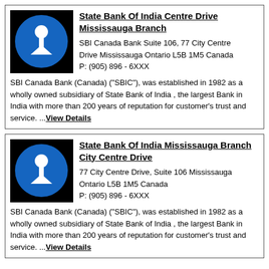[Figure (logo): State Bank of India logo: blue circle with white keyhole/pin shape on black background]
State Bank Of India Centre Drive Mississauga Branch
SBI Canada Bank Suite 106, 77 City Centre Drive Mississauga Ontario L5B 1M5 Canada
P: (905) 896 - 6XXX
SBI Canada Bank (Canada) ("SBIC"), was established in 1982 as a wholly owned subsidiary of State Bank of India , the largest Bank in India with more than 200 years of reputation for customer's trust and service. ...View Details
[Figure (logo): State Bank of India logo: blue circle with white keyhole/pin shape on black background]
State Bank Of India Mississauga Branch City Centre Drive
77 City Centre Drive, Suite 106 Mississauga Ontario L5B 1M5 Canada
P: (905) 896 - 6XXX
SBI Canada Bank (Canada) ("SBIC"), was established in 1982 as a wholly owned subsidiary of State Bank of India , the largest Bank in India with more than 200 years of reputation for customer's trust and service. ...View Details